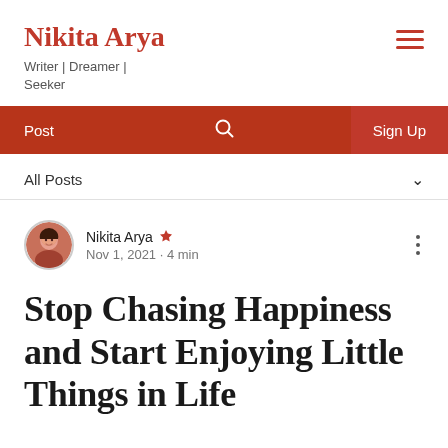Nikita Arya — Writer | Dreamer | Seeker
Post  Sign Up
All Posts
Nikita Arya  Nov 1, 2021 · 4 min
Stop Chasing Happiness and Start Enjoying Little Things in Life